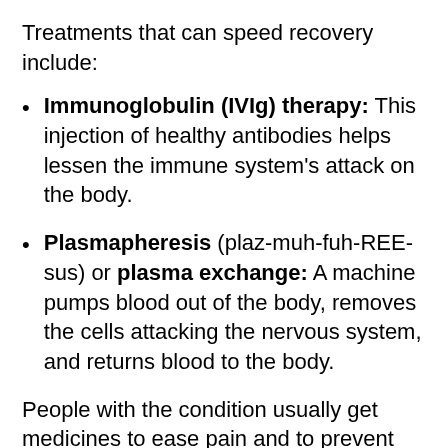Treatments that can speed recovery include:
Immunoglobulin (IVIg) therapy: This injection of healthy antibodies helps lessen the immune system's attack on the body.
Plasmapheresis (plaz-muh-fuh-REE-sus) or plasma exchange: A machine pumps blood out of the body, removes the cells attacking the nervous system, and returns blood to the body.
People with the condition usually get medicines to ease pain and to prevent blood clots if they can't move easily.
Most people with GBS get care in a hospital so doctors and nurses can check how they're doing. Sometimes they're cared for in an intensive care unit (ICU). This